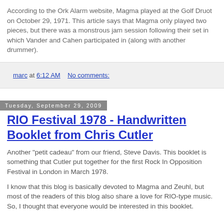According to the Ork Alarm website, Magma played at the Golf Druot on October 29, 1971. This article says that Magma only played two pieces, but there was a monstrous jam session following their set in which Vander and Cahen participated in (along with another drummer).
marc at 6:12 AM    No comments:
Tuesday, September 29, 2009
RIO Festival 1978 - Handwritten Booklet from Chris Cutler
Another "petit cadeau" from our friend, Steve Davis. This booklet is something that Cutler put together for the first Rock In Opposition Festival in London in March 1978.
I know that this blog is basically devoted to Magma and Zeuhl, but most of the readers of this blog also share a love for RIO-type music. So, I thought that everyone would be interested in this booklet.